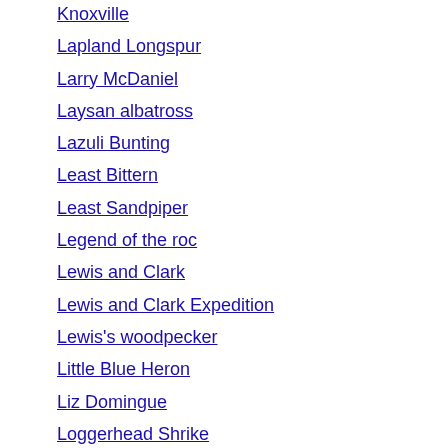Knoxville
Lapland Longspur
Larry McDaniel
Laysan albatross
Lazuli Bunting
Least Bittern
Least Sandpiper
Legend of the roc
Lewis and Clark
Lewis and Clark Expedition
Lewis's woodpecker
Little Blue Heron
Liz Domingue
Loggerhead Shrike
Louisiana Purchase
Louisiana Waterthrush
Magnolia Warbler
Male birds
Maria Sibylla Merian